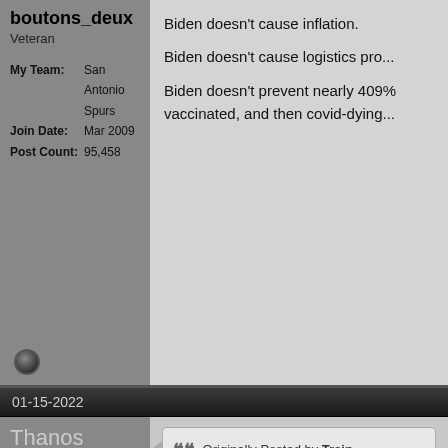boutons_deux
Veteran
My Team: San Antonio Spurs
Join Date: Mar 2009
Post Count: 95,458
Biden doesn't cause inflation.

Biden doesn't cause logistics pro...

Biden doesn't prevent nearly 409... vaccinated, and then covid-dying...
01-15-2022
Thanos
i am inevitable
My Team: Los Angeles Lakers
Join Date: Aug 2018
Post Count: 1,029
Originally Posted by Train...
Just because millennials dis... they're trending red.

They all wanted Bernie so of cou... below average male height, Virg... about 🤠🤡